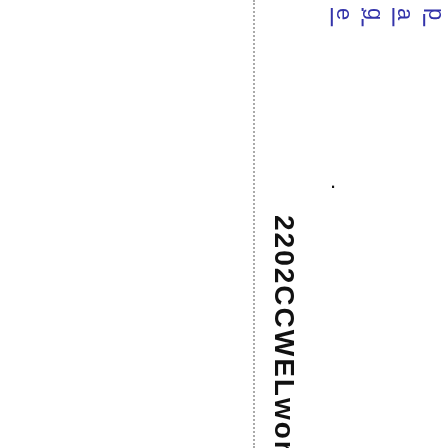page.
2202CCWELworkbeginsonthe